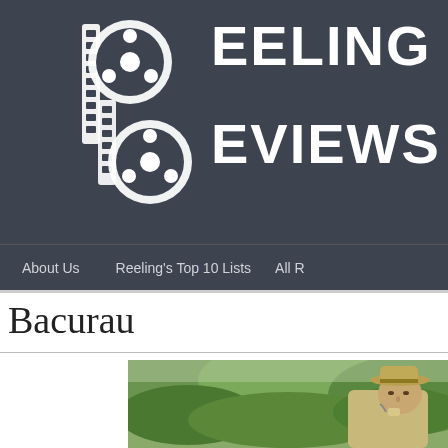Reeling Reviews
About Us   Reeling's Top 10 Lists   All R
Bacurau
[Figure (photo): A man wearing a wide-brimmed hat in an outdoor setting with green hills in the background, holding something small, from the film Bacurau]